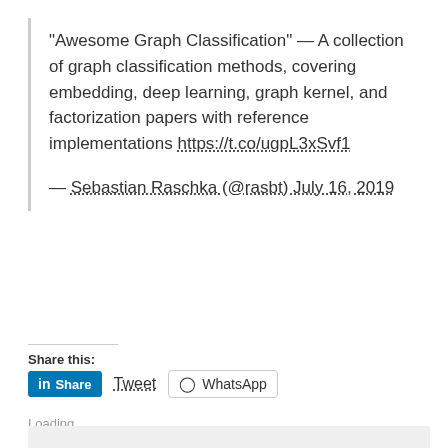"Awesome Graph Classification" — A collection of graph classification methods, covering embedding, deep learning, graph kernel, and factorization papers with reference implementations https://t.co/ugpL3xSvf1
— Sebastian Raschka (@rasbt) July 16, 2019
Share this:
in Share  Tweet  WhatsApp
Loading...